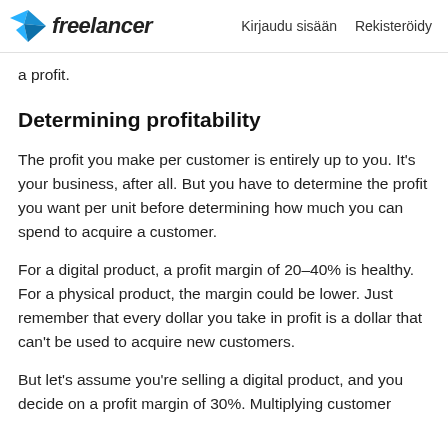freelancer  Kirjaudu sisään  Rekisteröidy
a profit.
Determining profitability
The profit you make per customer is entirely up to you. It's your business, after all. But you have to determine the profit you want per unit before determining how much you can spend to acquire a customer.
For a digital product, a profit margin of 20–40% is healthy. For a physical product, the margin could be lower. Just remember that every dollar you take in profit is a dollar that can't be used to acquire new customers.
But let's assume you're selling a digital product, and you decide on a profit margin of 30%. Multiplying customer